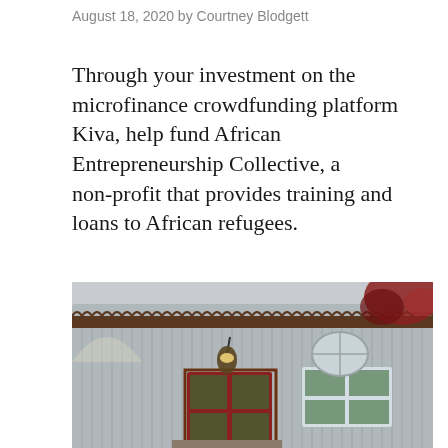August 18, 2020 by Courtney Blodgett
Through your investment on the microfinance crowdfunding platform Kiva, help fund African Entrepreneurship Collective, a non-profit that provides training and loans to African refugees.
[Figure (photo): Exterior photo of a building with corrugated metal siding, a red door with glass panes, a hanging lantern light, and autumn trees with red leaves visible in the background.]